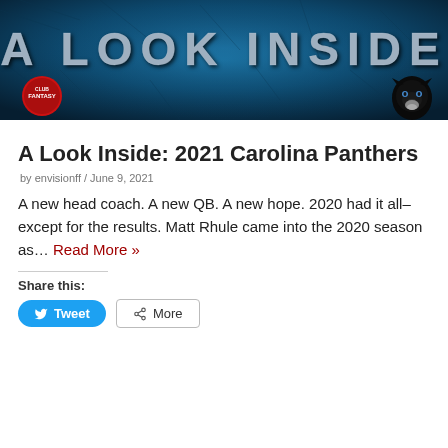[Figure (illustration): Banner image with dark teal/blue textured background and large text reading 'A LOOK INSIDE' in metallic gray letters, with a red circular logo on the bottom left and a Carolina Panthers black panther logo on the bottom right.]
A Look Inside: 2021 Carolina Panthers
by envisionff / June 9, 2021
A new head coach. A new QB. A new hope. 2020 had it all–except for the results. Matt Rhule came into the 2020 season as… Read More »
Share this: